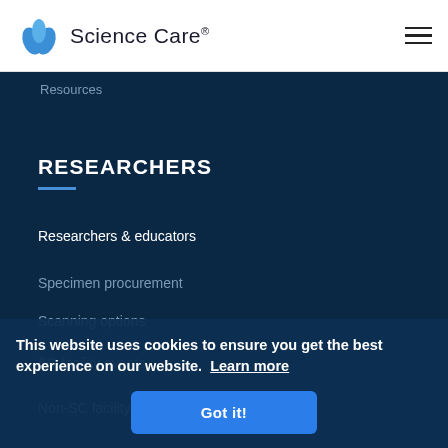[Figure (logo): Science Care logo with blue leaf icon and text 'Science Care®']
[Figure (other): Hamburger menu icon (three horizontal lines)]
Resources
RESEARCHERS
Researchers & educators
Specimen procurement
Scanning options
SC facility events
Non-SC facility events
This website uses cookies to ensure you get the best experience on our website.  Learn more
Got it!